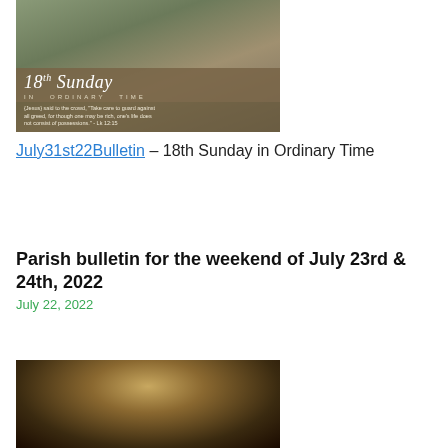[Figure (illustration): Religious illustration showing figures, with text overlay reading '18th Sunday in Ordinary Time' and a quote from Luke 12:15]
July31st22Bulletin – 18th Sunday in Ordinary Time
Parish bulletin for the weekend of July 23rd & 24th, 2022
July 22, 2022
[Figure (illustration): Religious painting showing a figure with light/halo effect]